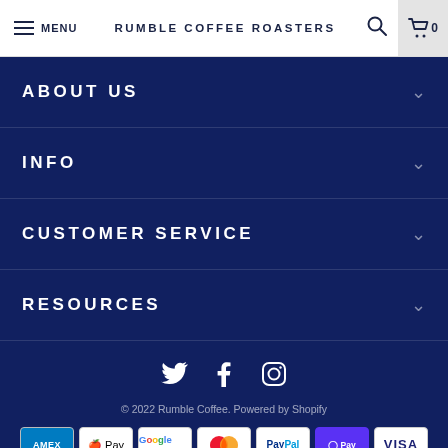MENU | RUMBLE COFFEE ROASTERS | 🔍 | 🛒 0
ABOUT US
INFO
CUSTOMER SERVICE
RESOURCES
[Figure (infographic): Social media icons: Twitter, Facebook, Instagram]
© 2022 Rumble Coffee. Powered by Shopify
[Figure (infographic): Payment method logos: AMEX, Apple Pay, Google Pay, Mastercard, PayPal, Shop Pay, Visa]